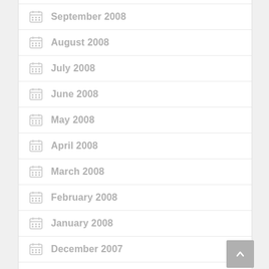September 2008
August 2008
July 2008
June 2008
May 2008
April 2008
March 2008
February 2008
January 2008
December 2007
November 2007